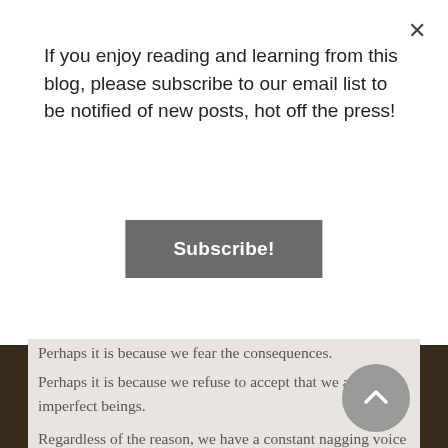If you enjoy reading and learning from this blog, please subscribe to our email list to be notified of new posts, hot off the press!
Subscribe!
Perhaps it is because we fear the consequences.
Perhaps it is because we refuse to accept that we are imperfect beings.
Regardless of the reason, we have a constant nagging voice in the back of our minds asking us: “Are you sure you want to do this? What if it’s all a big mistake?”.
This mentality affects our work, our financial decisions, our sense of adventure and even our relationships. Sometimes, we even go as far as not taking any action in